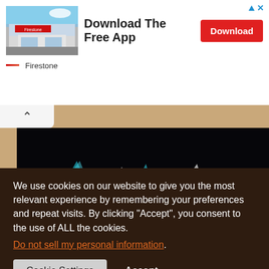[Figure (screenshot): Ad banner for Firestone showing a store exterior photo on the left, 'Download The Free App' text in the center, and a red 'Download' button on the right. Firestone brand name with dashes below.]
[Figure (photo): Dark abstract image with teal/cyan flame-like or wing-like shapes against a very dark background, partially obscured by cookie consent overlay.]
We use cookies on our website to give you the most relevant experience by remembering your preferences and repeat visits. By clicking "Accept", you consent to the use of ALL the cookies.
Do not sell my personal information.
Cookie Settings
Accept